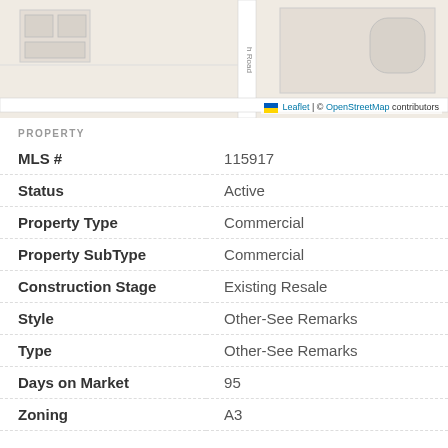[Figure (map): OpenStreetMap leaflet map showing a road labeled 'Road' running vertically, with building outlines and street layout visible. Attribution: Leaflet | © OpenStreetMap contributors.]
PROPERTY
| MLS # | 115917 |
| Status | Active |
| Property Type | Commercial |
| Property SubType | Commercial |
| Construction Stage | Existing Resale |
| Style | Other-See Remarks |
| Type | Other-See Remarks |
| Days on Market | 95 |
| Zoning | A3 |
ADDITIONAL
| Florida Room | No |
| Design | Other-See Remarks |